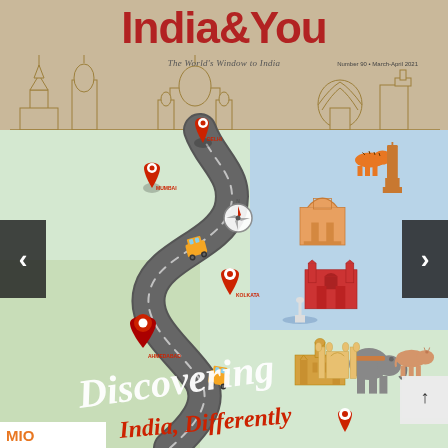India&You
The World's Window to India
Number 90 • March-April 2021
[Figure (illustration): Magazine cover of India&You featuring a winding road map of India with illustrated landmarks and icons of Mumbai, Kolkata, Ahmedabad, with text 'Discovering India, Differently'. Sketched Indian monuments in the upper portion on beige background, colorful illustrated map/road in lower portion with red location pins marking cities.]
MUMBAI
KOLKATA
AHMEDABAD
Discovering
India, Differently